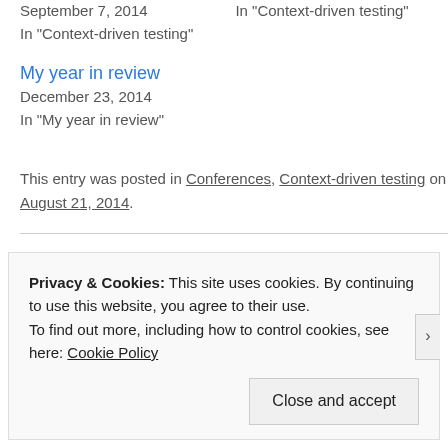September 7, 2014
In "Context-driven testing"
In "Context-driven testing"
My year in review
December 23, 2014
In "My year in review"
This entry was posted in Conferences, Context-driven testing on August 21, 2014.
Privacy & Cookies: This site uses cookies. By continuing to use this website, you agree to their use.
To find out more, including how to control cookies, see here: Cookie Policy